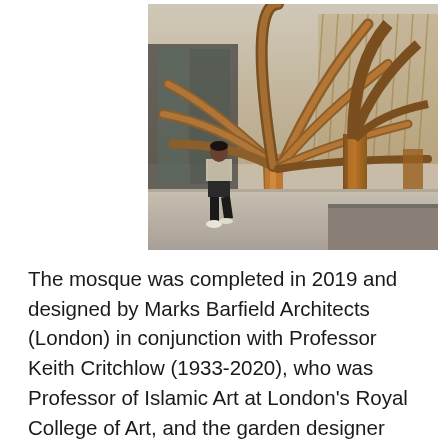[Figure (photo): Interior photograph of a mosque with tall tree-like wooden columns spreading upward into arching bamboo/timber beams forming a canopy structure. A person in casual clothing walks beneath the columns on a stone floor. Natural light filters through the lattice roof.]
The mosque was completed in 2019 and designed by Marks Barfield Architects (London) in conjunction with Professor Keith Critchlow (1933-2020), who was Professor of Islamic Art at London's Royal College of Art, and the garden designer Emma Clark. The designers of the